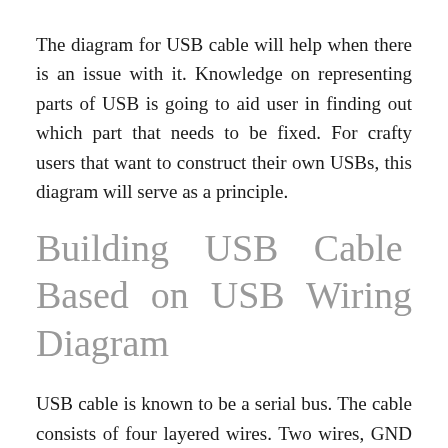The diagram for USB cable will help when there is an issue with it. Knowledge on representing parts of USB is going to aid user in finding out which part that needs to be fixed. For crafty users that want to construct their own USBs, this diagram will serve as a principle.
Building USB Cable Based on USB Wiring Diagram
USB cable is known to be a serial bus. The cable consists of four layered wires. Two wires, GND and +5v, are specifically for power. Meanwhile, the